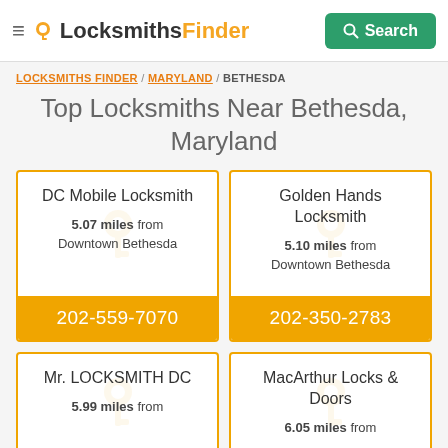≡ LocksmithsFinder Search
LOCKSMITHS FINDER / MARYLAND / BETHESDA
Top Locksmiths Near Bethesda, Maryland
DC Mobile Locksmith
5.07 miles from Downtown Bethesda
202-559-7070
Golden Hands Locksmith
5.10 miles from Downtown Bethesda
202-350-2783
Mr. LOCKSMITH DC
5.99 miles from
MacArthur Locks & Doors
6.05 miles from